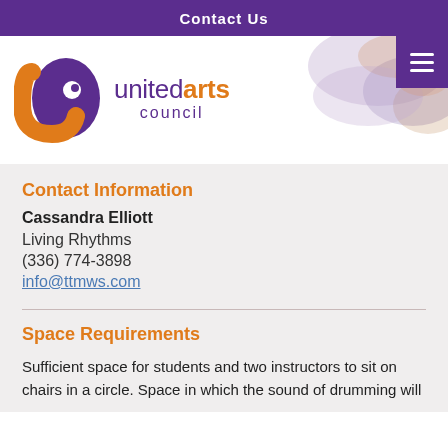Contact Us
[Figure (logo): United Arts Council logo with orange swirl and purple bird shape, and text 'united arts council']
Contact Information
Cassandra Elliott
Living Rhythms
(336) 774-3898
info@ttmws.com
Space Requirements
Sufficient space for students and two instructors to sit on chairs in a circle. Space in which the sound of drumming will